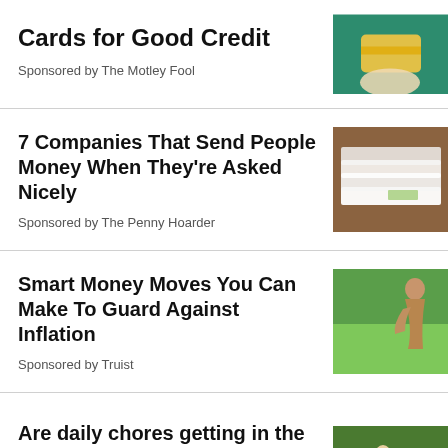Cards for Good Credit
Sponsored by The Motley Fool
[Figure (photo): Hand holding a credit card with green background]
7 Companies That Send People Money When They're Asked Nicely
Sponsored by The Penny Hoarder
[Figure (photo): Envelopes with money/checks on a wooden table]
Smart Money Moves You Can Make To Guard Against Inflation
Sponsored by Truist
[Figure (photo): Person bending over plants in a garden/market]
Are daily chores getting in the way of goals? Try these steps.
[Figure (photo): Person working outdoors in a field]